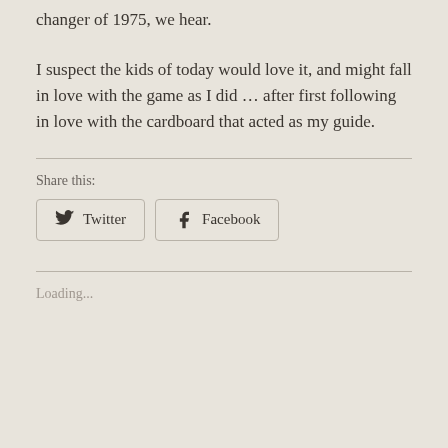changer of 1975, we hear.
I suspect the kids of today would love it, and might fall in love with the game as I did … after first following in love with the cardboard that acted as my guide.
Share this:
Twitter
Facebook
Loading...